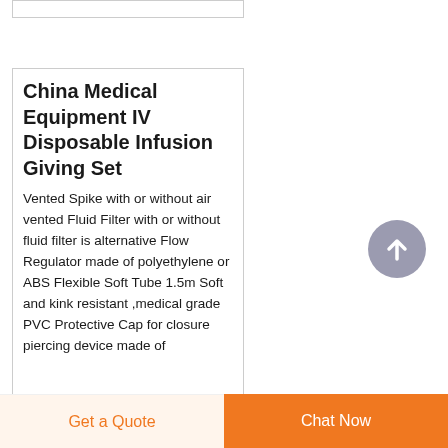China Medical Equipment IV Disposable Infusion Giving Set
Vented Spike with or without air vented Fluid Filter with or without fluid filter is alternative Flow Regulator made of polyethylene or ABS Flexible Soft Tube 1.5m Soft and kink resistant ,medical grade PVC Protective Cap for closure piercing device made of polyethylene with intros d...
Get a Quote
Chat Now